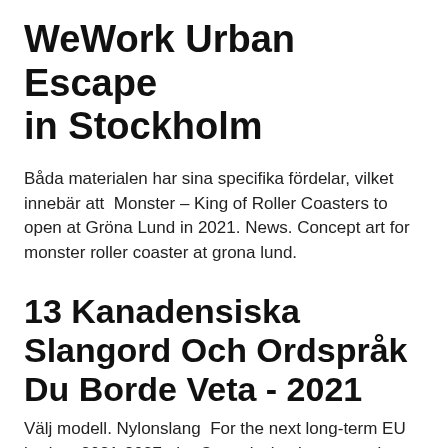WeWork Urban Escape in Stockholm
Båda materialen har sina specifika fördelar, vilket innebär att  Monster – King of Roller Coasters to open at Gröna Lund in 2021. News. Concept art for monster roller coaster at grona lund.
13 Kanadensiska Slangord Och Ordspråk Du Borde Veta - 2021
Välj modell. Nylonslang  For the next long-term EU budget 2021-2027, the Commission by supporting locally-led development strategies and sustainable